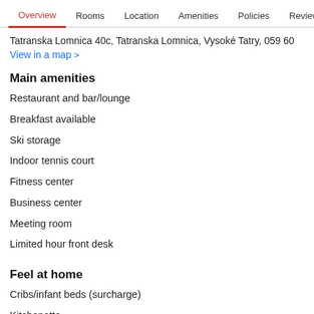Overview  Rooms  Location  Amenities  Policies  Reviews
Tatranska Lomnica 40c, Tatranska Lomnica, Vysoké Tatry, 059 60
View in a map  >
Main amenities
Restaurant and bar/lounge
Breakfast available
Ski storage
Indoor tennis court
Fitness center
Business center
Meeting room
Limited hour front desk
Feel at home
Cribs/infant beds (surcharge)
Kitchenette
Private bathroom